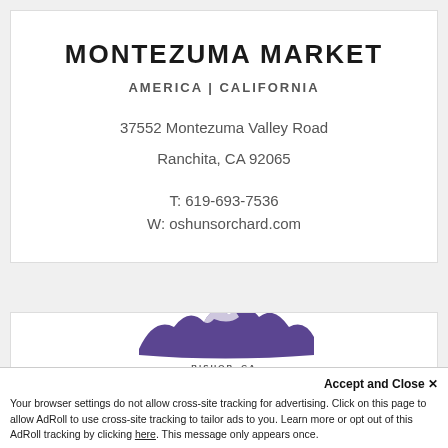MONTEZUMA MARKET
AMERICA | CALIFORNIA
37552 Montezuma Valley Road
Ranchita, CA 92065
T: 619-693-7536
W: oshunsorchard.com
[Figure (logo): Sage to Summit logo with purple mountain silhouette and BISHOP, CA text]
Accept and Close ✕
Your browser settings do not allow cross-site tracking for advertising. Click on this page to allow AdRoll to use cross-site tracking to tailor ads to you. Learn more or opt out of this AdRoll tracking by clicking here. This message only appears once.